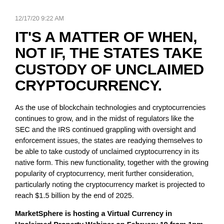12/17/20 9:22 AM
IT'S A MATTER OF WHEN, NOT IF, THE STATES TAKE CUSTODY OF UNCLAIMED CRYPTOCURRENCY.
As the use of blockchain technologies and cryptocurrencies continues to grow, and in the midst of regulators like the SEC and the IRS continued grappling with oversight and enforcement issues, the states are readying themselves to be able to take custody of unclaimed cryptocurrency in its native form. This new functionality, together with the growing popularity of cryptocurrency, merit further consideration, particularly noting the cryptocurrency market is projected to reach $1.5 billion by the end of 2025.
MarketSphere is hosting a Virtual Currency in Unclaimed Property Webinar on February 19 from 1pm - 2pm Central. This webinar will help you understand the basics and current legislative